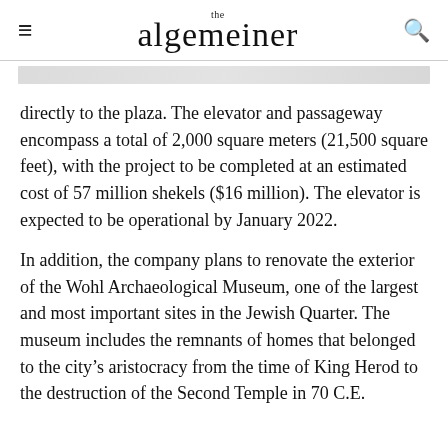the algemeiner
to build an elevator and tunnels that connect directly to the plaza. The elevator and passageway encompass a total of 2,000 square meters (21,500 square feet), with the project to be completed at an estimated cost of 57 million shekels ($16 million). The elevator is expected to be operational by January 2022.
In addition, the company plans to renovate the exterior of the Wohl Archaeological Museum, one of the largest and most important sites in the Jewish Quarter. The museum includes the remnants of homes that belonged to the city's aristocracy from the time of King Herod to the destruction of the Second Temple in 70 C.E.